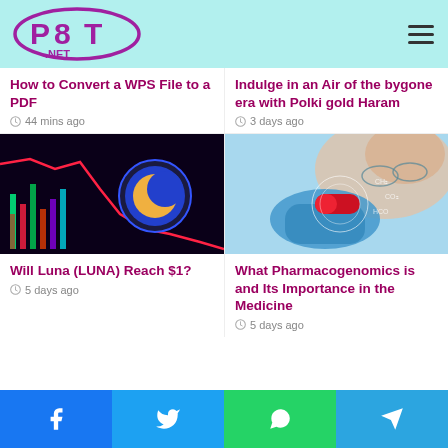P8T.NET
How to Convert a WPS File to a PDF
44 mins ago
Indulge in an Air of the bygone era with Polki gold Haram
3 days ago
[Figure (photo): Cryptocurrency Luna (LUNA) logo with red declining chart lines on dark background]
Will Luna (LUNA) Reach $1?
5 days ago
[Figure (photo): Medical researcher in blue gloves holding red capsule pill with digital overlay graphics]
What Pharmacogenomics is and Its Importance in the Medicine
5 days ago
Facebook Twitter WhatsApp Telegram